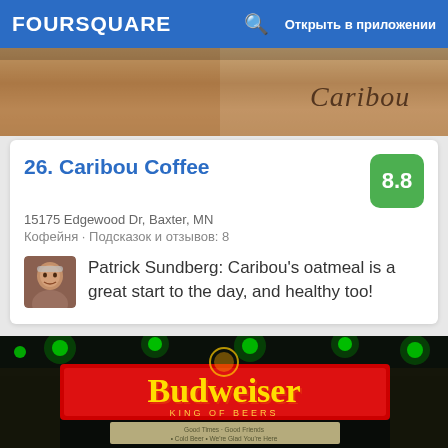FOURSQUARE   Открыть в приложении
[Figure (photo): Top cropped photo of Caribou Coffee interior/product with 'Caribou' text visible]
26. Caribou Coffee
15175 Edgewood Dr, Baxter, MN
Кофейня · Подсказок и отзывов: 8
Patrick Sundberg: Caribou's oatmeal is a great start to the day, and healthy too!
[Figure (photo): Bar interior with Budweiser neon sign reading 'Budweiser KING OF BEERS', green neon lights, and sign reading 'Good Times, Good Friends, Cold Beer, We're Glad You're Here']